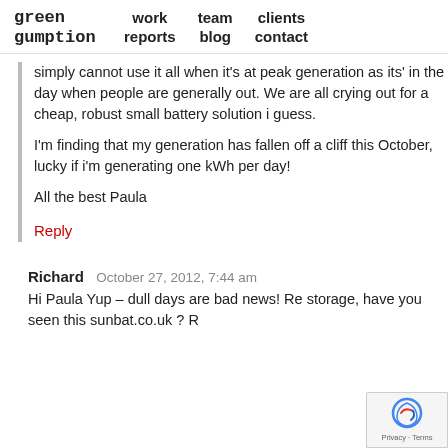green gumption | work reports | team blog | clients contact
simply cannot use it all when it's at peak generation as its' in the day when people are generally out.  We are all crying out for a cheap, robust small battery solution i guess.

I'm finding that my generation has fallen off a cliff this October, lucky if i'm generating one kWh per day!

All the best Paula
Reply
Richard   October 27, 2012, 7:44 am
Hi Paula Yup – dull days are bad news! Re storage, have you seen this sunbat.co.uk ? R